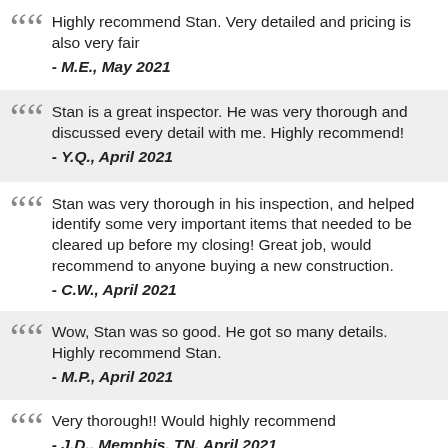Highly recommend Stan. Very detailed and pricing is also very fair
- M.E., May 2021
Stan is a great inspector. He was very thorough and discussed every detail with me. Highly recommend!
- Y.Q., April 2021
Stan was very thorough in his inspection, and helped identify some very important items that needed to be cleared up before my closing! Great job, would recommend to anyone buying a new construction.
- C.W., April 2021
Wow, Stan was so good. He got so many details. Highly recommend Stan.
- M.P., April 2021
Very thorough!! Would highly recommend
- J.D., Memphis, TN, April 2021